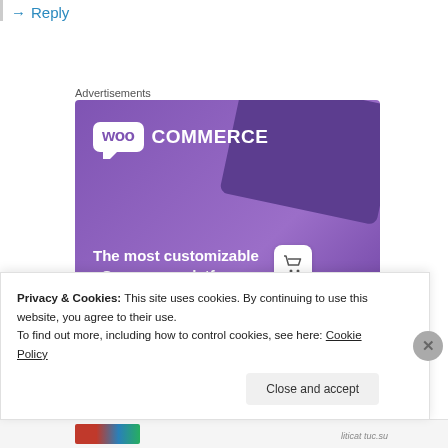→ Reply
Advertisements
[Figure (screenshot): WooCommerce advertisement banner with purple background. Shows WooCommerce logo, tagline 'The most customizable eCommerce platform', a 'Start a new store' button, and a shopping cart icon with UI mockups.]
Privacy & Cookies: This site uses cookies. By continuing to use this website, you agree to their use.
To find out more, including how to control cookies, see here: Cookie Policy
Close and accept